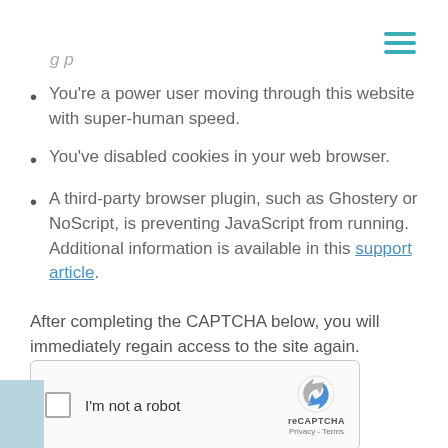[Figure (other): Hamburger menu icon with three teal horizontal lines in top-right corner]
g p
You're a power user moving through this website with super-human speed.
You've disabled cookies in your web browser.
A third-party browser plugin, such as Ghostery or NoScript, is preventing JavaScript from running. Additional information is available in this support article.
After completing the CAPTCHA below, you will immediately regain access to the site again.
[Figure (other): reCAPTCHA widget with checkbox labeled I'm not a robot, reCAPTCHA logo, Privacy and Terms links]